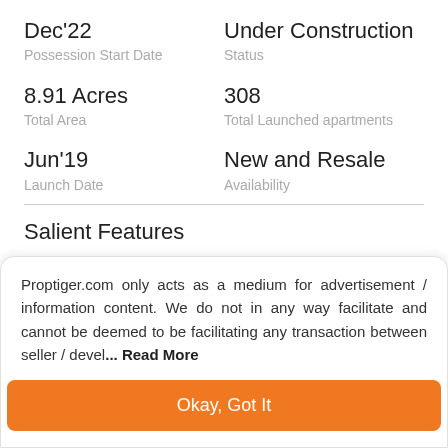Dec'22
Possession Start Date
Under Construction
Status
8.91 Acres
Total Area
308
Total Launched apartments
Jun'19
Launch Date
New and Resale
Availability
Salient Features
Proptiger.com only acts as a medium for advertisement / information content. We do not in any way facilitate and cannot be deemed to be facilitating any transaction between seller / devel... Read More
Okay, Got It